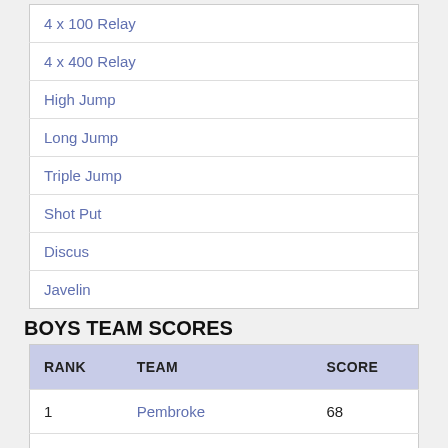| 4 x 100 Relay |
| 4 x 400 Relay |
| High Jump |
| Long Jump |
| Triple Jump |
| Shot Put |
| Discus |
| Javelin |
BOYS TEAM SCORES
| RANK | TEAM | SCORE |
| --- | --- | --- |
| 1 | Pembroke | 68 |
| 2 | Merrimack Valley | 61 |
| 3 | Hillsboro-Deering | 23 |
GIRLS TEAM SCORES